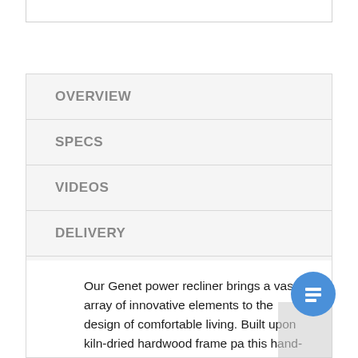OVERVIEW
SPECS
VIDEOS
DELIVERY
WARRANTY
Our Genet power recliner brings a vast array of innovative elements to the design of comfortable living. Built upon kiln-dried hardwood frame parts, this hand-crafted item comes with style,